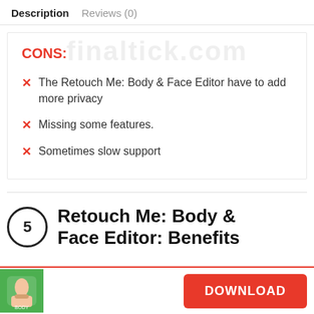Description   Reviews (0)
CONS:
The Retouch Me: Body & Face Editor have to add more privacy
Missing some features.
Sometimes slow support
5   Retouch Me: Body & Face Editor: Benefits